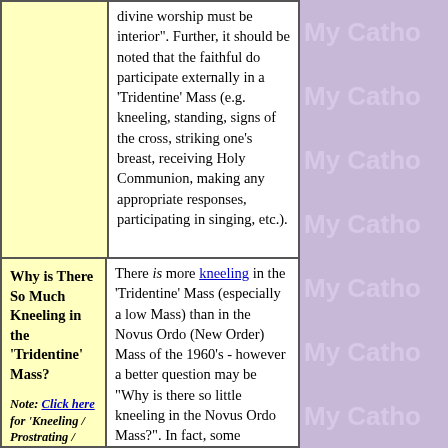divine worship must be interior". Further, it should be noted that the faithful do participate externally in a 'Tridentine' Mass (e.g. kneeling, standing, signs of the cross, striking one's breast, receiving Holy Communion, making any appropriate responses, participating in singing, etc.).
Why is There So Much Kneeling in the 'Tridentine' Mass?
Note: Click here for 'Kneeling / Prostrating / Bowing / Genuflecting'
There is more kneeling in the 'Tridentine' Mass (especially a low Mass) than in the Novus Ordo (New Order) Mass of the 1960's - however a better question may be "Why is there so little kneeling in the Novus Ordo Mass?". In fact, some parishes have even been built without kneelers! In other places, persons have been told not